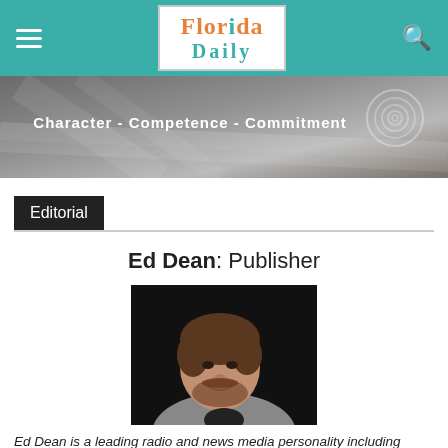Florida Daily
[Figure (photo): Hero banner with text 'Character - Competence - Commitment' over a courthouse architectural photo]
Editorial
Ed Dean: Publisher
[Figure (photo): Headshot of Ed Dean, a man with brown hair and beard wearing a grey blazer against a dark background]
Ed Dean is a leading radio and news media personality including hosting the #1 statewide radio talk show in